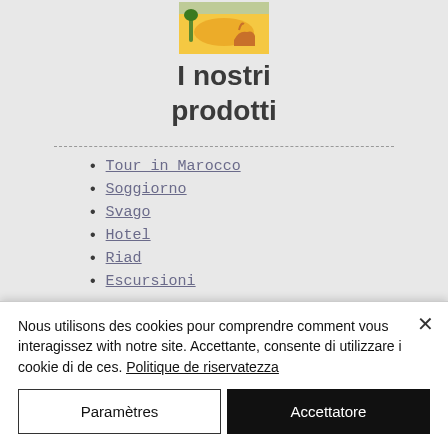[Figure (logo): Colorful travel logo with camel and palm tree, yellow/orange tones]
I nostri prodotti
Tour in Marocco
Soggiorno
Svago
Hotel
Riad
Escursioni
[Figure (logo): Dark red square logo with stylized arch/figure and palm tree icon]
Nous utilisons des cookies pour comprendre comment vous interagissez with notre site. Accettante, consente di utilizzare i cookie di de ces. Politique de riservatezza
Paramètres
Accettatore